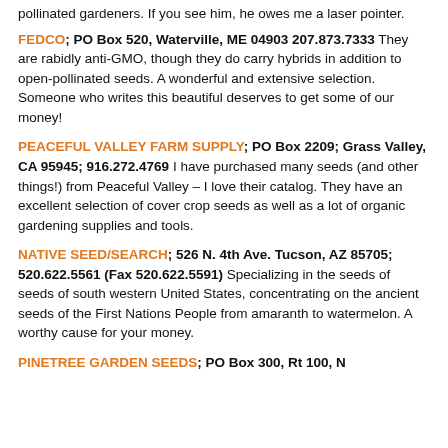pollinated gardeners. If you see him, he owes me a laser pointer.
FEDCO; PO Box 520, Waterville, ME 04903 207.873.7333 They are rabidly anti-GMO, though they do carry hybrids in addition to open-pollinated seeds. A wonderful and extensive selection. Someone who writes this beautiful deserves to get some of our money!
PEACEFUL VALLEY FARM SUPPLY; PO Box 2209; Grass Valley, CA 95945; 916.272.4769 I have purchased many seeds (and other things!) from Peaceful Valley – I love their catalog. They have an excellent selection of cover crop seeds as well as a lot of organic gardening supplies and tools.
NATIVE SEED/SEARCH; 526 N. 4th Ave. Tucson, AZ 85705; 520.622.5561 (Fax 520.622.5591) Specializing in the seeds of seeds of south western United States, concentrating on the ancient seeds of the First Nations People from amaranth to watermelon. A worthy cause for your money.
PINETREE GARDEN SEEDS; PO Box 300, Rt 100, N...